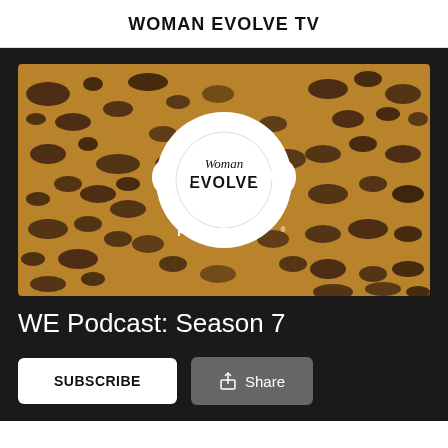WOMAN EVOLVE TV
[Figure (illustration): Leopard print background with a white circular podcast logo in the center showing headphones and 'Woman EVOLVE' text, flanked by 'SZN' on the left and 'SVN' on the right, with 'PODCAST' text below the logo circle.]
WE Podcast: Season 7
SUBSCRIBE  Share